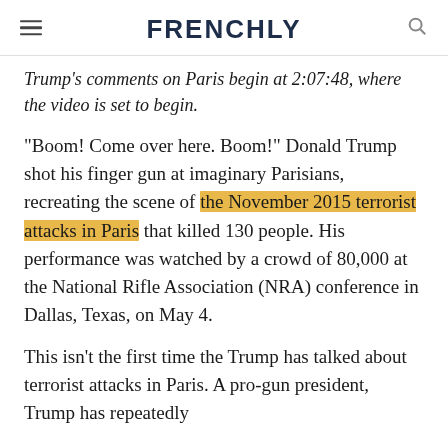FRENCHLY
Trump's comments on Paris begin at 2:07:48, where the video is set to begin.
“Boom! Come over here. Boom!” Donald Trump shot his finger gun at imaginary Parisians, recreating the scene of the November 2015 terrorist attacks in Paris that killed 130 people. His performance was watched by a crowd of 80,000 at the National Rifle Association (NRA) conference in Dallas, Texas, on May 4.
This isn’t the first time the Trump has talked about terrorist attacks in Paris. A pro-gun president, Trump has repeatedly